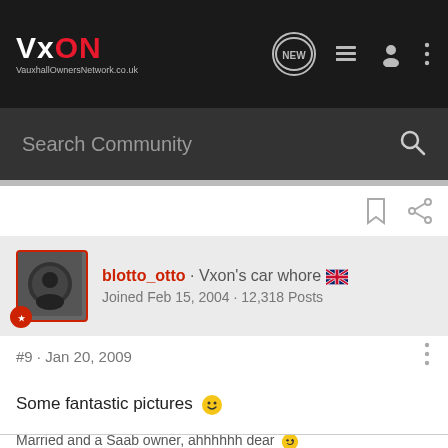VxON VauxhallOwnersNetwork.co.uk
Search Community
blotto_otto · Vxon's car whore 🇬🇧
Joined Feb 15, 2004 · 12,318 Posts
#9 · Jan 20, 2009
Some fantastic pictures 🙂
Married and a Saab owner, ahhhhhh dear 🙄